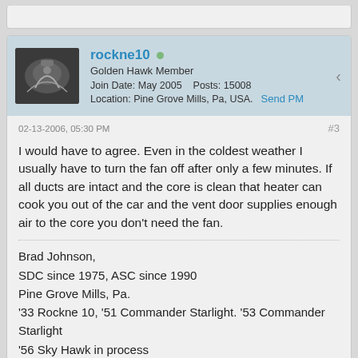[Figure (screenshot): Partial top of a forum post card, mostly cropped]
rockne10
Golden Hawk Member
Join Date: May 2005    Posts: 15008
Location: Pine Grove Mills, Pa, USA.   Send PM
02-13-2006, 05:30 PM
#3
I would have to agree. Even in the coldest weather I usually have to turn the fan off after only a few minutes. If all ducts are intact and the core is clean that heater can cook you out of the car and the vent door supplies enough air to the core you don't need the fan.
Brad Johnson,
SDC since 1975, ASC since 1990
Pine Grove Mills, Pa.
'33 Rockne 10, '51 Commander Starlight. '53 Commander Starlight
'56 Sky Hawk in process